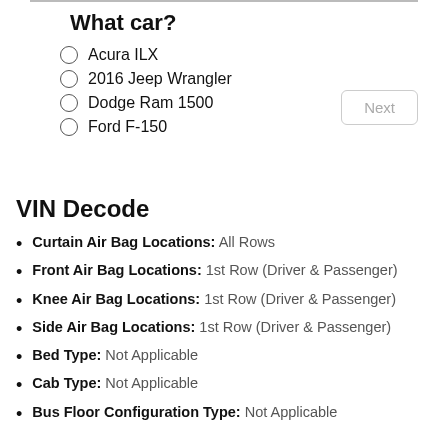What car?
Acura ILX
2016 Jeep Wrangler
Dodge Ram 1500
Ford F-150
VIN Decode
Curtain Air Bag Locations: All Rows
Front Air Bag Locations: 1st Row (Driver & Passenger)
Knee Air Bag Locations: 1st Row (Driver & Passenger)
Side Air Bag Locations: 1st Row (Driver & Passenger)
Bed Type: Not Applicable
Cab Type: Not Applicable
Bus Floor Configuration Type: Not Applicable